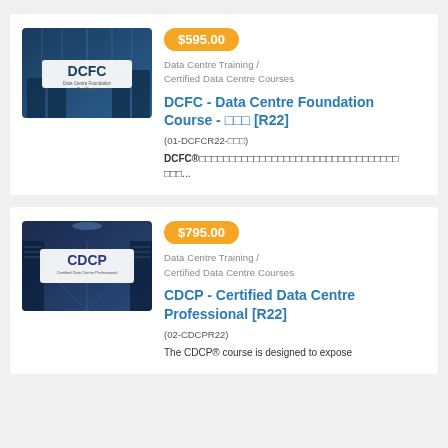[Figure (screenshot): DCFC Data Centre Foundation Certificate course image with blue data centre background and DCFC logo]
$595.00
Data Centre Training / Certified Data Centre Courses
DCFC - Data Centre Foundation Course - □□□ [R22]
(01-DCFCR22-□□□)
DCFC®□□□□□□□□□□□□□□□□□□□□□□□□□□□□□□□□□□...
[Figure (screenshot): CDCP Certified Data Centre Professional course image with blue data centre background and CDCP logo]
$795.00
Data Centre Training / Certified Data Centre Courses
CDCP - Certified Data Centre Professional [R22]
(02-CDCPR22)
The CDCP® course is designed to expose